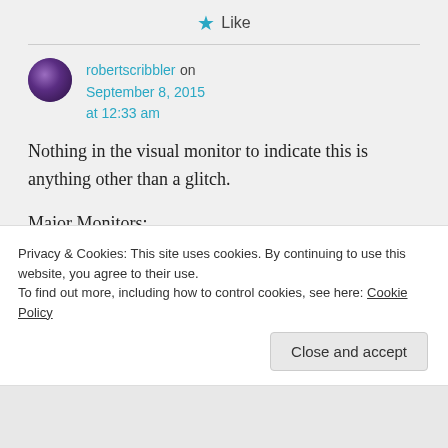★ Like
robertscribbler on September 8, 2015 at 12:33 am
Nothing in the visual monitor to indicate this is anything other than a glitch.

Major Monitors:
Privacy & Cookies: This site uses cookies. By continuing to use this website, you agree to their use.
To find out more, including how to control cookies, see here: Cookie Policy
Close and accept